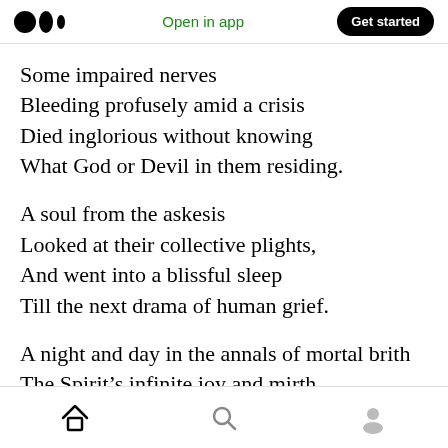Medium logo | Open in app | Get started
Some impaired nerves
Bleeding profusely amid a crisis
Died inglorious without knowing
What God or Devil in them residing.
A soul from the askesis
Looked at their collective plights,
And went into a blissful sleep
Till the next drama of human grief.
A night and day in the annals of mortal brith
The Spirit’s infinite joy and mirth.
Home | Search | Profile